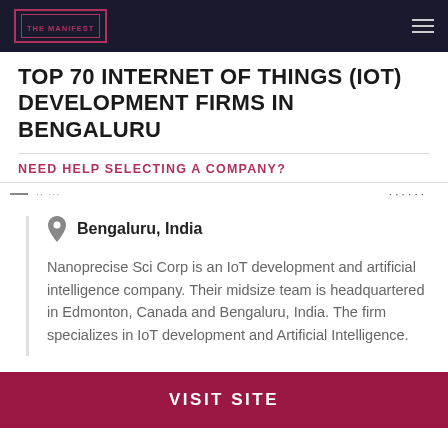THE MANIFEST
TOP 70 INTERNET OF THINGS (IOT) DEVELOPMENT FIRMS IN BENGALURU
NEED HELP SELECTING A COMPANY?
Bengaluru, India
Nanoprecise Sci Corp is an IoT development and artificial intelligence company. Their midsize team is headquartered in Edmonton, Canada and Bengaluru, India. The firm specializes in IoT development and Artificial Intelligence.
VISIT SITE